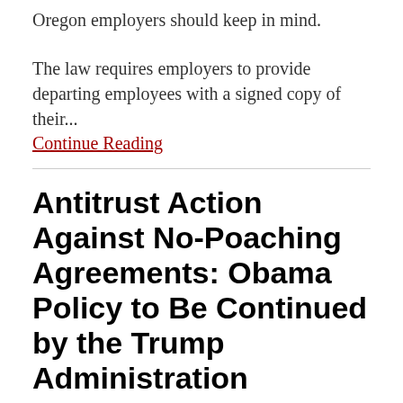Oregon employers should keep in mind.
The law requires employers to provide departing employees with a signed copy of their...
Continue Reading
Antitrust Action Against No-Poaching Agreements: Obama Policy to Be Continued by the Trump Administration
By David J. Clark on January 26, 2018
POSTED IN NON-COMPETE AGREEMENTS, NON-SOLICIT AGREEMENTS
[Figure (photo): Dark blue-toned photo, likely showing a person or figure with blue lighting effects in the background]